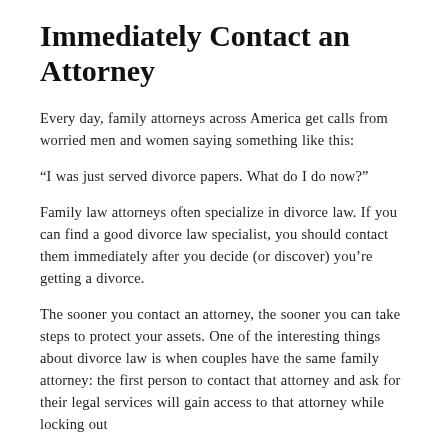Immediately Contact an Attorney
Every day, family attorneys across America get calls from worried men and women saying something like this:
“I was just served divorce papers. What do I do now?”
Family law attorneys often specialize in divorce law. If you can find a good divorce law specialist, you should contact them immediately after you decide (or discover) you’re getting a divorce.
The sooner you contact an attorney, the sooner you can take steps to protect your assets. One of the interesting things about divorce law is when couples have the same family attorney: the first person to contact that attorney and ask for their legal services will gain access to that attorney while locking out